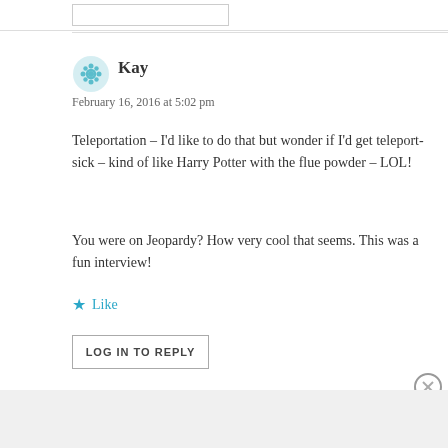[Figure (other): Input text box at top of page]
Kay
February 16, 2016 at 5:02 pm
Teleportation – I'd like to do that but wonder if I'd get teleport-sick – kind of like Harry Potter with the flue powder – LOL!
You were on Jeopardy? How very cool that seems. This was a fun interview!
Like
LOG IN TO REPLY
Advertisements
[Figure (illustration): Day One journaling app advertisement banner with blue background, icons, and text: 'The only journaling app you'll ever need.']